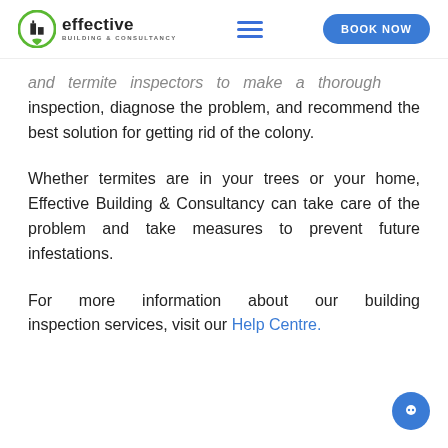effective BUILDING & CONSULTANCY | BOOK NOW
and termite inspectors to make a thorough inspection, diagnose the problem, and recommend the best solution for getting rid of the colony.
Whether termites are in your trees or your home, Effective Building & Consultancy can take care of the problem and take measures to prevent future infestations.
For more information about our building inspection services, visit our Help Centre.